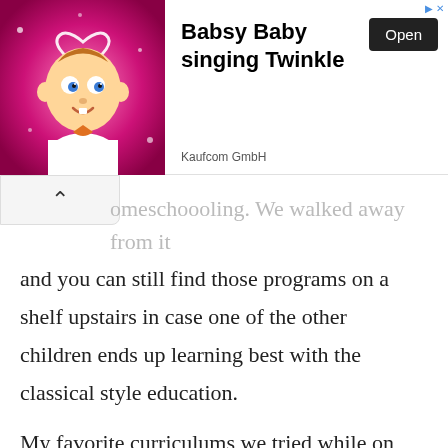[Figure (screenshot): Mobile app advertisement banner for 'Babsy Baby singing Twinkle' by Kaufcom GmbH, with an animated baby character on a pink background and an 'Open' button.]
omeschoooling. We walked away from it and you can still find those programs on a shelf upstairs in case one of the other children ends up learning best with the classical style education.
My favorite curriculums we tried while on the homeschool review crew was Logic of English Essentials. We still use this program for our children and with so